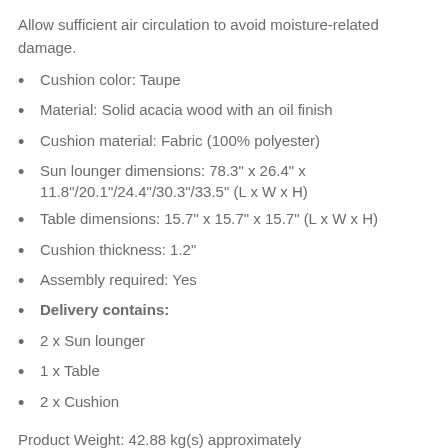Allow sufficient air circulation to avoid moisture-related damage.
Cushion color: Taupe
Material: Solid acacia wood with an oil finish
Cushion material: Fabric (100% polyester)
Sun lounger dimensions: 78.3" x 26.4" x 11.8"/20.1"/24.4"/30.3"/33.5" (L x W x H)
Table dimensions: 15.7" x 15.7" x 15.7" (L x W x H)
Cushion thickness: 1.2"
Assembly required: Yes
Delivery contains:
2 x Sun lounger
1 x Table
2 x Cushion
Product Weight: 42.88 kg(s) approximately